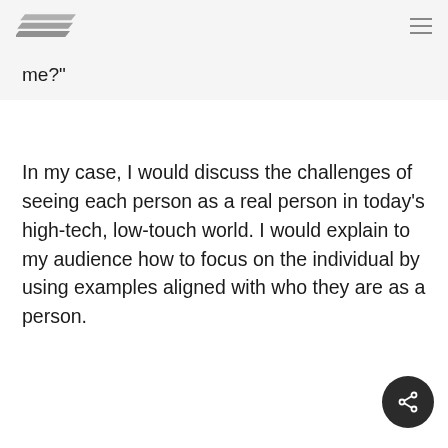[Logo and navigation menu]
me?"
In my case, I would discuss the challenges of seeing each person as a real person in today’s high-tech, low-touch world. I would explain to my audience how to focus on the individual by using examples aligned with who they are as a person.